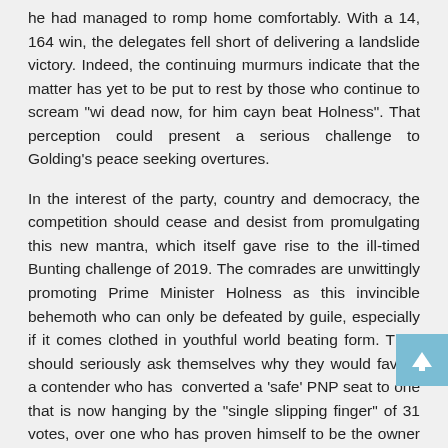he had managed to romp home comfortably. With a 14, 164 win, the delegates fell short of delivering a landslide victory. Indeed, the continuing murmurs indicate that the matter has yet to be put to rest by those who continue to scream "wi dead now, for him cayn beat Holness". That perception could present a serious challenge to Golding's peace seeking overtures.
In the interest of the party, country and democracy, the competition should cease and desist from promulgating this new mantra, which itself gave rise to the ill-timed Bunting challenge of 2019. The comrades are unwittingly promoting Prime Minister Holness as this invincible behemoth who can only be defeated by guile, especially if it comes clothed in youthful world beating form. They should seriously ask themselves why they would favour a contender who has converted a 'safe' PNP seat to one that is now hanging by the "single slipping finger" of 31 votes, over one who has proven himself to be the owner of safe hands.
They would do well to accept the fact that it was not merely the leader who was rejected in the polls of September 3, 2020 but that it